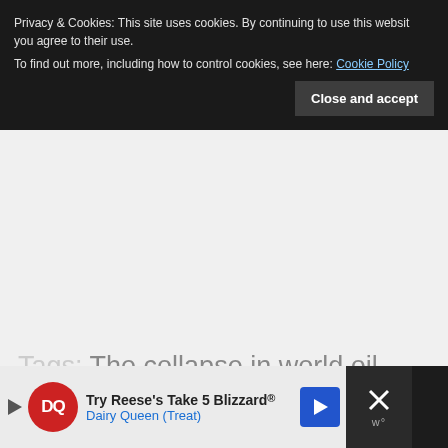Privacy & Cookies: This site uses cookies. By continuing to use this website, you agree to their use.
To find out more, including how to control cookies, see here: Cookie Policy
Close and accept
Tags: The collapse in world oil prices is a concern for Formula One
[Figure (screenshot): Advertisement bar at bottom showing Dairy Queen ad: Try Reese's Take 5 Blizzard® Dairy Queen (Treat), with DQ logo, navigation arrow icon, and close button with X]